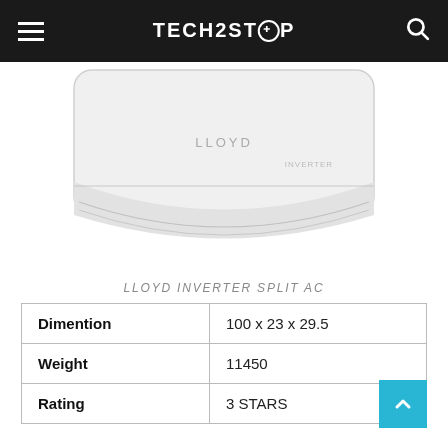TECH2STOP
[Figure (photo): Lloyd Inverter Split AC indoor unit product photo, white unit against white background]
LLOYD INVERTER SPLIT AC
| Dimention | 100 x 23 x 29.5 |
| Weight | 11450 |
| Rating | 3 STARS |